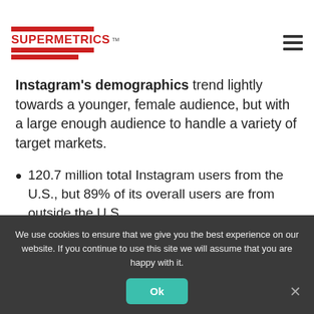Supermetrics
Instagram's demographics trend lightly towards a younger, female audience, but with a large enough audience to handle a variety of target markets.
120.7 million total Instagram users from the U.S., but 89% of its overall users are from outside the U.S.
We use cookies to ensure that we give you the best experience on our website. If you continue to use this site we will assume that you are happy with it.